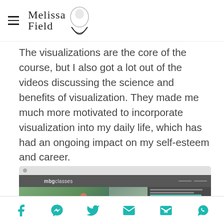Melissa Field (logo with hamburger menu)
The visualizations are the core of the course, but I also got a lot out of the videos discussing the science and benefits of visualization. They made me much more motivated to incorporate visualization into my daily life, which has had an ongoing impact on my self-esteem and career.
[Figure (screenshot): Screenshot of mbgclasses website showing a woman in a green outfit sitting in a chair during a video lesson, with a course sidebar panel on the right showing lesson list items.]
Social sharing icons: Facebook, Messenger, Twitter, Email, Gmail, WhatsApp